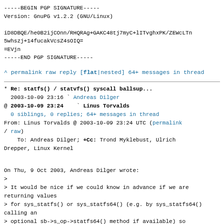-----BEGIN PGP SIGNATURE-----
Version: GnuPG v1.2.2 (GNU/Linux)

iD8DBQE/he0B2ijCOnn/RHQRAg+GAKC48tj7myC+lITvghxPK/ZEWcLTn
5whszj+14fucakVcsZ4sOIQ=
=EVjn
-----END PGP SIGNATURE-----
^ permalink raw reply   [flat|nested] 64+ messages in thread
* Re: statfs() / statvfs() syscall ballsup...
  2003-10-09 23:16 ` Andreas Dilger
@ 2003-10-09 23:24   ` Linus Torvalds
  0 siblings, 0 replies; 64+ messages in thread
From: Linus Torvalds @ 2003-10-09 23:24 UTC (permalink / raw)
    To: Andreas Dilger; +Cc: Trond Myklebust, Ulrich Drepper, Linux Kernel
On Thu, 9 Oct 2003, Andreas Dilger wrote:
>
> It would be nice if we could know in advance if we are returning values
> for sys_statfs() or sys_statfs64() (e.g. by sys_statfs64() calling an
> optional sb->s_op->statfs64() method if available) so